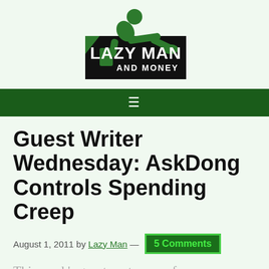[Figure (logo): Lazy Man and Money logo: green silhouette of a reclining man on a black rectangular background with white text 'LAZY MAN AND MONEY']
≡
Guest Writer Wednesday: AskDong Controls Spending Creep
August 1, 2011 by Lazy Man — 5 Comments
This week's guest post comes from